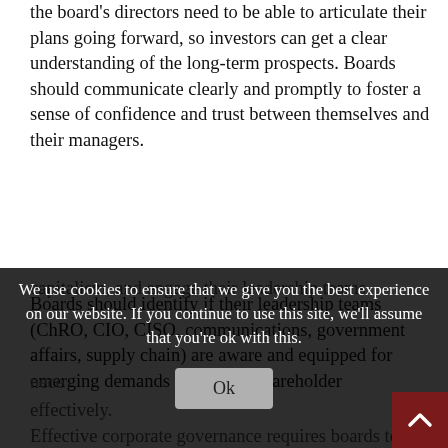the board's directors need to be able to articulate their plans going forward, so investors can get a clear understanding of the long-term prospects. Boards should communicate clearly and promptly to foster a sense of confidence and trust between themselves and their managers.
Boards should identify if their leadership teams (ChRO, CIO, CISO, communications, government affairs, supply chain) are aware and equipped for emerging demands created by shareholder capitalism, and engage their leadership teams
nece... effectively.
Effective corporate governance requires boards to